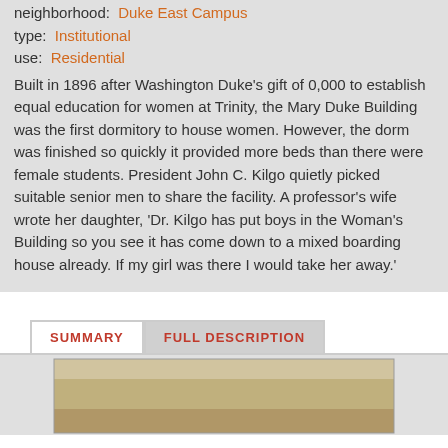neighborhood:  Duke East Campus
type:  Institutional
use:  Residential
Built in 1896 after Washington Duke's gift of 0,000 to establish equal education for women at Trinity, the Mary Duke Building was the first dormitory to house women. However, the dorm was finished so quickly it provided more beds than there were female students. President John C. Kilgo quietly picked suitable senior men to share the facility. A professor's wife wrote her daughter, 'Dr. Kilgo has put boys in the Woman's Building so you see it has come down to a mixed boarding house already. If my girl was there I would take her away.'
SUMMARY
FULL DESCRIPTION
[Figure (photo): Historical photograph of the Mary Duke Building, sepia-toned]